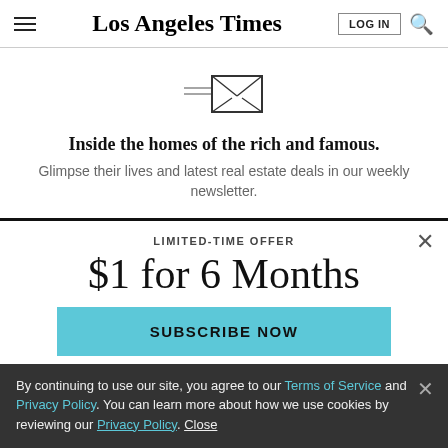Los Angeles Times
[Figure (illustration): Newsletter envelope icon with lines indicating mail]
Inside the homes of the rich and famous.
Glimpse their lives and latest real estate deals in our weekly newsletter.
LIMITED-TIME OFFER
$1 for 6 Months
SUBSCRIBE NOW
By continuing to use our site, you agree to our Terms of Service and Privacy Policy. You can learn more about how we use cookies by reviewing our Privacy Policy. Close